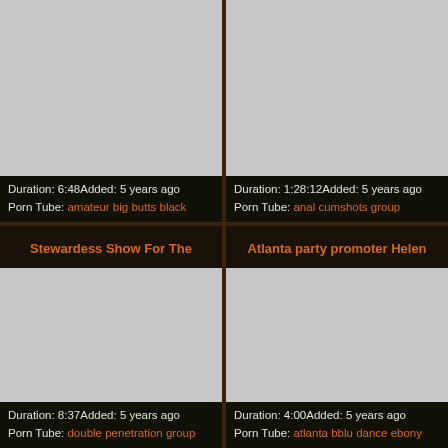[Figure (photo): Video thumbnail placeholder top-left]
Duration: 6:48Added: 5 years ago
Porn Tube: amateur big butts black
[Figure (photo): Video thumbnail placeholder top-right]
Duration: 1:28:12Added: 5 years ago
Porn Tube: anal cumshots group
Stewardess Show For The
[Figure (photo): Video thumbnail placeholder bottom-left]
Duration: 8:37Added: 5 years ago
Porn Tube: double penetration group
Atlanta party promoter Helen
[Figure (photo): Video thumbnail placeholder bottom-right]
Duration: 4:00Added: 5 years ago
Porn Tube: atlanta bblu dance ebony